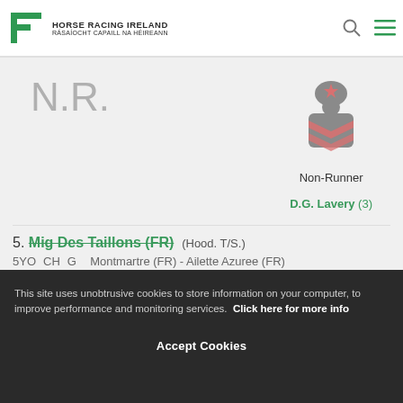Horse Racing Ireland | Rásaíocht Capaill na hÉireann
and ran smoothly, slight mistake 2 out, soon on terms, slight lead and fell last
[Figure (illustration): Jockey silks icon - gray body with pink/red star on cap and chevron details, labeled Non-Runner]
Non-Runner
D.G. Lavery (3)
N.R.
5. Mig Des Taillons (FR) (Hood. T/S.)
5YO CH G Montmartre (FR) - Ailette Azuree (FR)
Owner: P L Polly/Mrs Mary Turley
Rating: 119
This site uses unobtrusive cookies to store information on your computer, to improve performance and monitoring services. Click here for more info
Accept Cookies